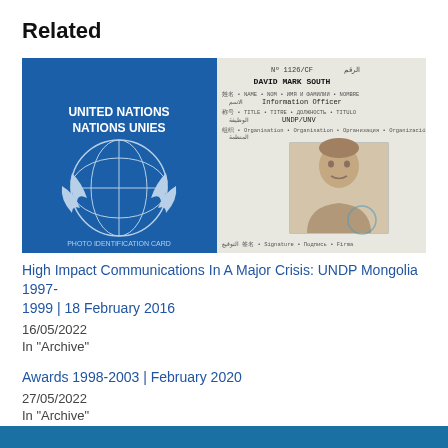Related
[Figure (photo): United Nations / Nations Unies ID card for David Mark South, Information Officer, UNDP/UNV, with passport photo of a man]
High Impact Communications In A Major Crisis: UNDP Mongolia 1997-1999 | 18 February 2016
16/05/2022
In "Archive"
Awards 1998-2003 | February 2020
27/05/2022
In "Archive"